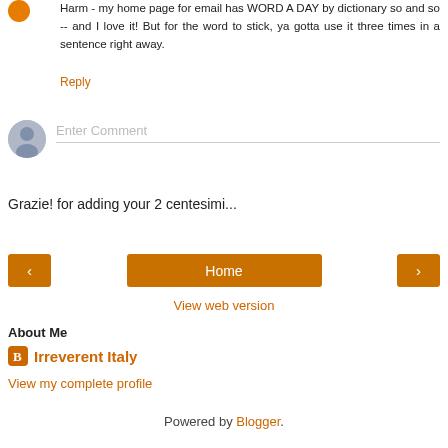Harm - my home page for email has WORD A DAY by dictionary so and so -- and I love it! But for the word to stick, ya gotta use it three times in a sentence right away.
Reply
[Figure (illustration): Grey avatar circle for comment entry]
Enter Comment
Grazie! for adding your 2 centesimi...
[Figure (other): Navigation buttons: left arrow, Home, right arrow]
View web version
About Me
Irreverent Italy
View my complete profile
Powered by Blogger.